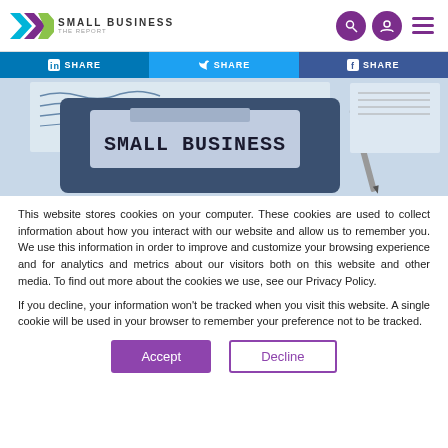Small Business The Report
[Figure (photo): Calculator displaying 'SMALL BUSINESS' on its screen, with papers and a pen in the background]
This website stores cookies on your computer. These cookies are used to collect information about how you interact with our website and allow us to remember you. We use this information in order to improve and customize your browsing experience and for analytics and metrics about our visitors both on this website and other media. To find out more about the cookies we use, see our Privacy Policy.
If you decline, your information won't be tracked when you visit this website. A single cookie will be used in your browser to remember your preference not to be tracked.